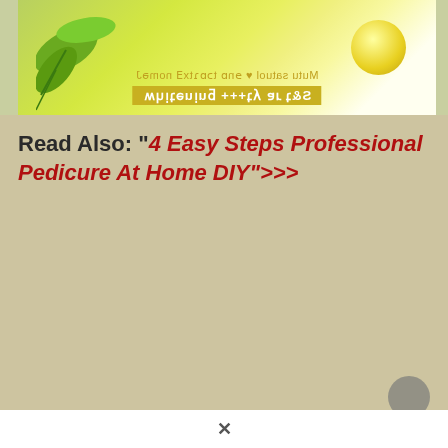[Figure (photo): Product image - appears to be a cream or lotion tube with lemon/citrus imagery and green leaves, shown upside-down. Text on packaging reads 'Lemon Extract & White Lotus Milk' and '+++44 IQ 562' or similar.]
Read Also: “4 Easy Steps Professional Pedicure At Home DIY”>>>